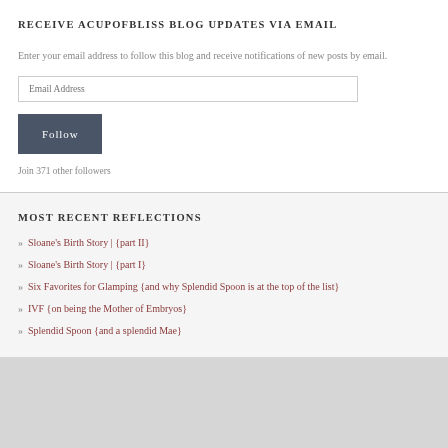RECEIVE ACUPOFBLISS BLOG UPDATES VIA EMAIL
Enter your email address to follow this blog and receive notifications of new posts by email.
Email Address
Follow
Join 371 other followers
MOST RECENT REFLECTIONS
Sloane’s Birth Story | {part II}
Sloane’s Birth Story | {part I}
Six Favorites for Glamping {and why Splendid Spoon is at the top of the list}
IVF {on being the Mother of Embryos}
Splendid Spoon {and a splendid Mae}